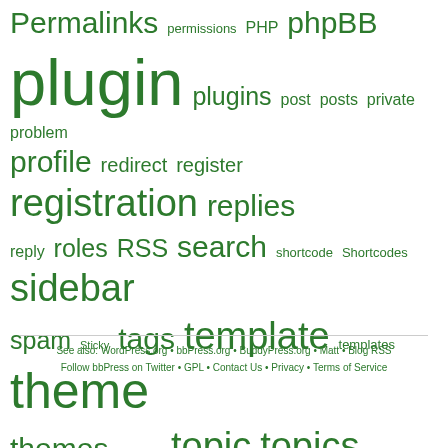[Figure (infographic): Tag cloud with words in various sizes representing frequency/popularity. All text in green. Words include: Permalinks, permissions, PHP, phpBB, plugin, plugins, post, posts, private, problem, profile, redirect, register, registration, replies, reply, roles, RSS, search, shortcode, Shortcodes, sidebar, spam, Sticky, tags, template, templates, theme, themes, TinyMCE, topic, topics, translation, upgrade, URL, user, username, users, widget, WordPress, wpmu]
See also: WordPress.org • bbPress.org • BuddyPress.org • Matt • Blog RSS
Follow bbPress on Twitter • GPL • Contact Us • Privacy • Terms of Service